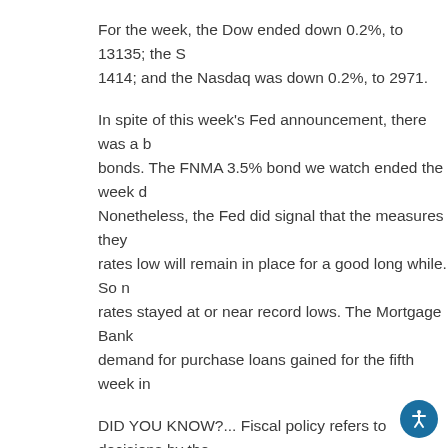For the week, the Dow ended down 0.2%, to 13135; the S 1414; and the Nasdaq was down 0.2%, to 2971.
In spite of this week's Fed announcement, there was a b bonds. The FNMA 3.5% bond we watch ended the week d Nonetheless, the Fed did signal that the measures they rates low will remain in place for a good long while. So n rates stayed at or near record lows. The Mortgage Bank demand for purchase loans gained for the fifth week in
DID YOU KNOW?... Fiscal policy refers to decisions by the about taxation and government spending. Economists e increase, more money goes to the government, so cons goods and services to grow the economy and create job
>> This Week's Forecast